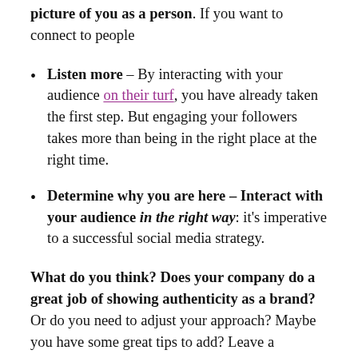picture of you as a person. If you want to connect to people
Listen more – By interacting with your audience on their turf, you have already taken the first step. But engaging your followers takes more than being in the right place at the right time.
Determine why you are here – Interact with your audience in the right way: it's imperative to a successful social media strategy.
What do you think? Does your company do a great job of showing authenticity as a brand? Or do you need to adjust your approach? Maybe you have some great tips to add? Leave a